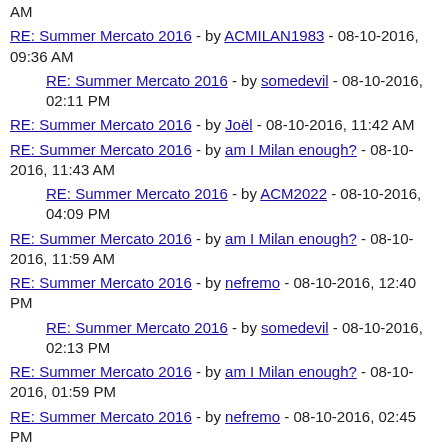AM
RE: Summer Mercato 2016 - by ACMILAN1983 - 08-10-2016, 09:36 AM
RE: Summer Mercato 2016 - by somedevil - 08-10-2016, 02:11 PM
RE: Summer Mercato 2016 - by Joël - 08-10-2016, 11:42 AM
RE: Summer Mercato 2016 - by am I Milan enough? - 08-10-2016, 11:43 AM
RE: Summer Mercato 2016 - by ACM2022 - 08-10-2016, 04:09 PM
RE: Summer Mercato 2016 - by am I Milan enough? - 08-10-2016, 11:59 AM
RE: Summer Mercato 2016 - by nefremo - 08-10-2016, 12:40 PM
RE: Summer Mercato 2016 - by somedevil - 08-10-2016, 02:13 PM
RE: Summer Mercato 2016 - by am I Milan enough? - 08-10-2016, 01:59 PM
RE: Summer Mercato 2016 - by nefremo - 08-10-2016, 02:45 PM
RE: Summer Mercato 2016 - by WCmilan - 08-10-2016, 03:32 PM
RE: Summer Mercato 2016 - by nefremo - 08-10-2016, 05:01 PM
RE: Summer Mercato 2016 - by porcho - 08-11-2016, 12:18